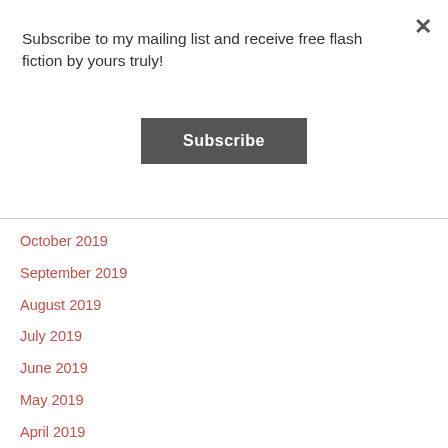Subscribe to my mailing list and receive free flash fiction by yours truly!
Subscribe
October 2019
September 2019
August 2019
July 2019
June 2019
May 2019
April 2019
March 2019
February 2019
January 2019
December 2018
November 2018